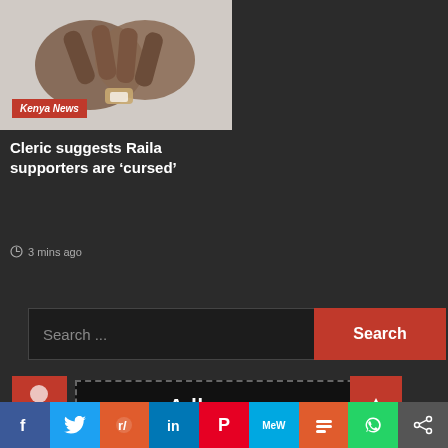[Figure (photo): Hands crossed/clasped together, person wearing a watch, news article thumbnail image with Kenya News badge overlay]
Cleric suggests Raila supporters are ‘cursed’
3 mins ago
Search ...
[Figure (photo): Adhang.com advertisement banner]
[Figure (other): Social media sharing bar with icons: Facebook, Twitter, Reddit, LinkedIn, Pinterest, MeWe, Mix, WhatsApp, Share]